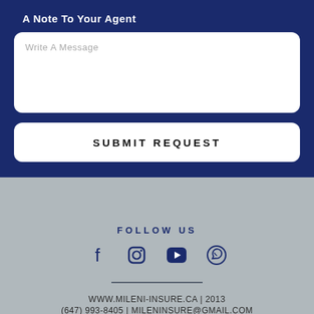A Note To Your Agent
Write A Message
SUBMIT REQUEST
FOLLOW US
[Figure (infographic): Social media icons: Facebook, Instagram, YouTube, WhatsApp]
WWW.MILENI-INSURE.CA | 2013
(647) 993-8405 | MILENINSURE@GMAIL.COM